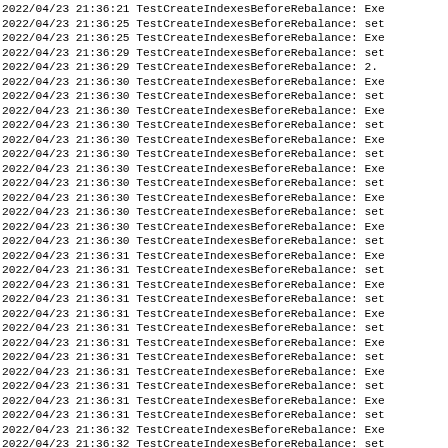2022/04/23 21:36:21 TestCreateIndexesBeforeRebalance: Exe
2022/04/23 21:36:25 TestCreateIndexesBeforeRebalance: set
2022/04/23 21:36:25 TestCreateIndexesBeforeRebalance: Exe
2022/04/23 21:36:29 TestCreateIndexesBeforeRebalance: set
2022/04/23 21:36:29 TestCreateIndexesBeforeRebalance: 2.
2022/04/23 21:36:30 TestCreateIndexesBeforeRebalance: Exe
2022/04/23 21:36:30 TestCreateIndexesBeforeRebalance: set
2022/04/23 21:36:30 TestCreateIndexesBeforeRebalance: Exe
2022/04/23 21:36:30 TestCreateIndexesBeforeRebalance: set
2022/04/23 21:36:30 TestCreateIndexesBeforeRebalance: Exe
2022/04/23 21:36:30 TestCreateIndexesBeforeRebalance: set
2022/04/23 21:36:30 TestCreateIndexesBeforeRebalance: Exe
2022/04/23 21:36:30 TestCreateIndexesBeforeRebalance: set
2022/04/23 21:36:30 TestCreateIndexesBeforeRebalance: Exe
2022/04/23 21:36:30 TestCreateIndexesBeforeRebalance: set
2022/04/23 21:36:30 TestCreateIndexesBeforeRebalance: Exe
2022/04/23 21:36:30 TestCreateIndexesBeforeRebalance: set
2022/04/23 21:36:31 TestCreateIndexesBeforeRebalance: Exe
2022/04/23 21:36:31 TestCreateIndexesBeforeRebalance: set
2022/04/23 21:36:31 TestCreateIndexesBeforeRebalance: Exe
2022/04/23 21:36:31 TestCreateIndexesBeforeRebalance: set
2022/04/23 21:36:31 TestCreateIndexesBeforeRebalance: Exe
2022/04/23 21:36:31 TestCreateIndexesBeforeRebalance: set
2022/04/23 21:36:31 TestCreateIndexesBeforeRebalance: Exe
2022/04/23 21:36:31 TestCreateIndexesBeforeRebalance: set
2022/04/23 21:36:31 TestCreateIndexesBeforeRebalance: Exe
2022/04/23 21:36:31 TestCreateIndexesBeforeRebalance: set
2022/04/23 21:36:31 TestCreateIndexesBeforeRebalance: Exe
2022/04/23 21:36:31 TestCreateIndexesBeforeRebalance: set
2022/04/23 21:36:32 TestCreateIndexesBeforeRebalance: Exe
2022/04/23 21:36:32 TestCreateIndexesBeforeRebalance: set